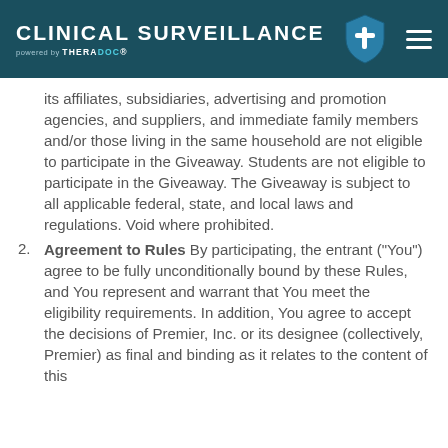CLINICAL SURVEILLANCE powered by THERADOC
its affiliates, subsidiaries, advertising and promotion agencies, and suppliers, and immediate family members and/or those living in the same household are not eligible to participate in the Giveaway. Students are not eligible to participate in the Giveaway. The Giveaway is subject to all applicable federal, state, and local laws and regulations. Void where prohibited.
2. Agreement to Rules By participating, the entrant ("You") agree to be fully unconditionally bound by these Rules, and You represent and warrant that You meet the eligibility requirements. In addition, You agree to accept the decisions of Premier, Inc. or its designee (collectively, Premier) as final and binding as it relates to the content of this